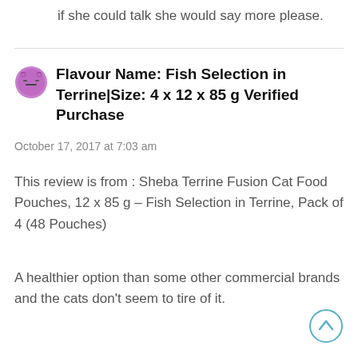if she could talk she would say more please.
Flavour Name: Fish Selection in Terrine|Size: 4 x 12 x 85 g Verified Purchase
October 17, 2017 at 7:03 am
This review is from : Sheba Terrine Fusion Cat Food Pouches, 12 x 85 g – Fish Selection in Terrine, Pack of 4 (48 Pouches)
A healthier option than some other commercial brands and the cats don't seem to tire of it.